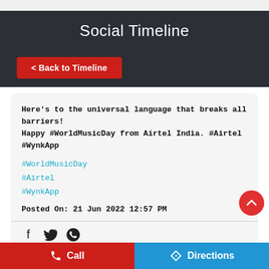Social Timeline
< Back to Timeline
Here's to the universal language that breaks all barriers! Happy #WorldMusicDay from Airtel India. #Airtel #WynkApp
#WorldMusicDay
#Airtel
#WynkApp
Posted On: 21 Jun 2022 12:57 PM
[Figure (other): Social share icons: Facebook, Twitter, WhatsApp]
Call
Directions